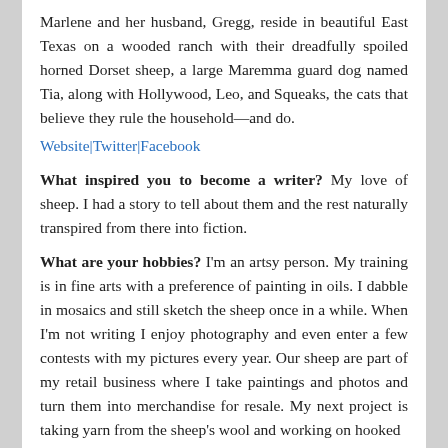Marlene and her husband, Gregg, reside in beautiful East Texas on a wooded ranch with their dreadfully spoiled horned Dorset sheep, a large Maremma guard dog named Tia, along with Hollywood, Leo, and Squeaks, the cats that believe they rule the household—and do.
Website | Twitter | Facebook
What inspired you to become a writer? My love of sheep. I had a story to tell about them and the rest naturally transpired from there into fiction.
What are your hobbies? I'm an artsy person. My training is in fine arts with a preference of painting in oils. I dabble in mosaics and still sketch the sheep once in a while. When I'm not writing I enjoy photography and even enter a few contests with my pictures every year. Our sheep are part of my retail business where I take paintings and photos and turn them into merchandise for resale. My next project is taking yarn from the sheep's wool and working on hooked